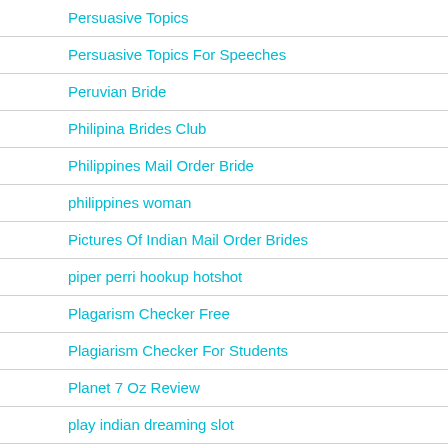Persuasive Topics
Persuasive Topics For Speeches
Peruvian Bride
Philipina Brides Club
Philippines Mail Order Bride
philippines woman
Pictures Of Indian Mail Order Brides
piper perri hookup hotshot
Plagarism Checker Free
Plagiarism Checker For Students
Planet 7 Oz Review
play indian dreaming slot
play online casinos